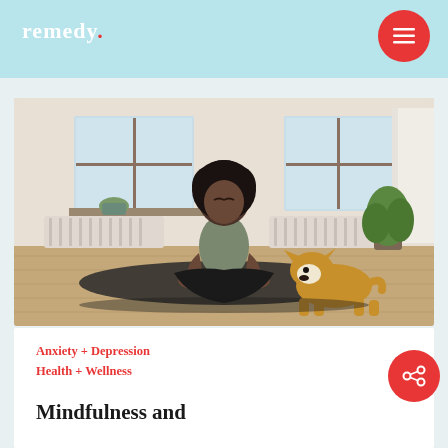remedy.
[Figure (photo): Woman with curly hair sitting in lotus meditation pose on a dark yoga mat in a bright room with white radiators and plants, with a corgi dog sitting beside her]
Anxiety + Depression
Health + Wellness
Mindfulness and